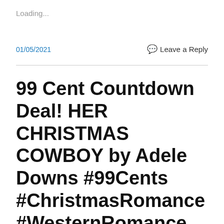Loading...
01/05/2021
Leave a Reply
99 Cent Countdown Deal! HER CHRISTMAS COWBOY by Adele Downs #99Cents #ChristmasRomance #WesternRomance #ContemporaryWesternRomance #ShortRead #ChristmasBook #Holiday